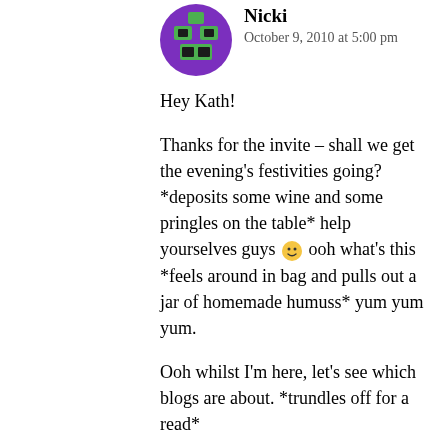[Figure (illustration): Pixel art avatar icon with purple background and green/black robot face design]
Nicki
October 9, 2010 at 5:00 pm
Hey Kath!

Thanks for the invite – shall we get the evening's festivities going? *deposits some wine and some pringles on the table* help yourselves guys 🙂 ooh what's this *feels around in bag and pulls out a jar of homemade humuss* yum yum yum.

Ooh whilst I'm here, let's see which blogs are about. *trundles off for a read*

You can find me over at http://cardiffbites.blogspot.com 🙂

Nicki x